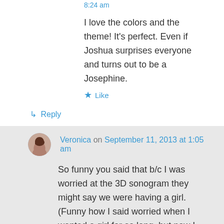8:24 am
I love the colors and the theme! It's perfect. Even if Joshua surprises everyone and turns out to be a Josephine.
★ Like
↳ Reply
Veronica on September 11, 2013 at 1:05 am
So funny you said that b/c I was worried at the 3D sonogram they might say we were having a girl. (Funny how I said worried when I wanted a girl for so long, but now I really want a boy and would be kinda sad at first if it was a girl!) And I'm the same as